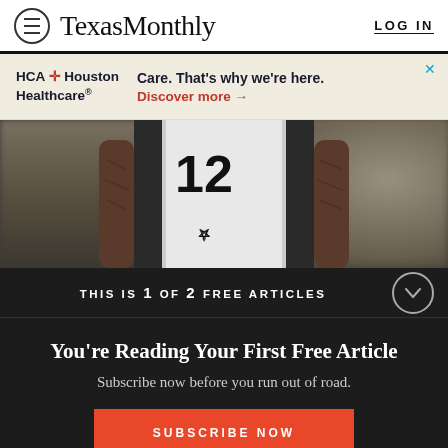Texas Monthly   LOG IN
[Figure (infographic): HCA Houston Healthcare advertisement banner with text 'Care. That's why we're here.' and 'Discover more →' in orange]
[Figure (photo): Basketball player wearing San Antonio Spurs jersey number 12 with tattooed arms, crowd blurred in background]
THIS IS 1 OF 2 FREE ARTICLES
You're Reading Your First Free Article
Subscribe now before you run out of road.
SUBSCRIBE NOW
Already a subscriber? Log in